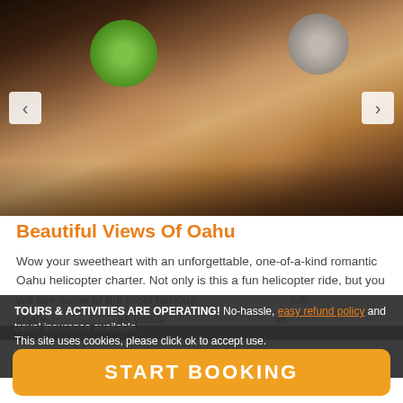[Figure (photo): Couple wearing helicopter headsets, smiling at each other inside a helicopter. Man has green noise-canceling headset, woman has gray headset.]
Beautiful Views Of Oahu
Wow your sweetheart with an unforgettable, one-of-a-kind romantic Oahu helicopter charter. Not only is this a fun helicopter ride, but you will see some of the most famous ... will share ... as you s... le d...
TOURS & ACTIVITIES ARE OPERATING! No-hassle, easy refund policy and travel insurance available.
This site uses cookies, please click ok to accept use.
Please review our privacy policy here.
START BOOKING